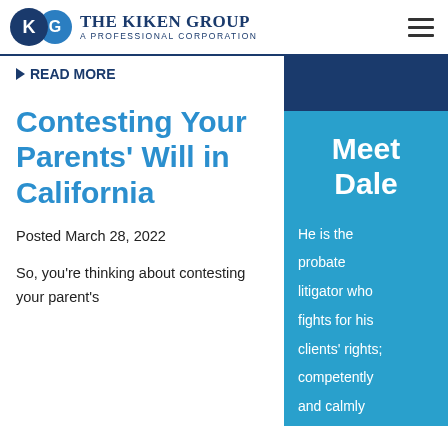The Kiken Group — A Professional Corporation
READ MORE
Contesting Your Parents' Will in California
Posted March 28, 2022
So, you're thinking about contesting your parent's
Meet Dale
He is the probate litigator who fights for his clients' rights; competently and calmly